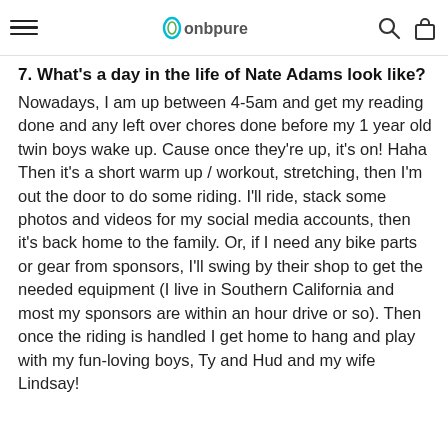≡ conbpure 🔍 🛍
7. What's a day in the life of Nate Adams look like?
Nowadays, I am up between 4-5am and get my reading done and any left over chores done before my 1 year old twin boys wake up. Cause once they're up, it's on! Haha
Then it's a short warm up / workout, stretching, then I'm out the door to do some riding. I'll ride, stack some photos and videos for my social media accounts, then it's back home to the family. Or, if I need any bike parts or gear from sponsors, I'll swing by their shop to get the needed equipment (I live in Southern California and most my sponsors are within an hour drive or so). Then once the riding is handled I get home to hang and play with my fun-loving boys, Ty and Hud and my wife Lindsay!